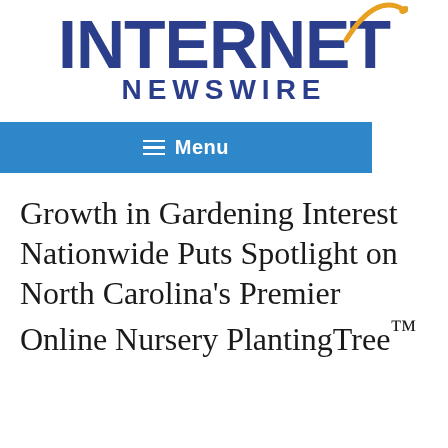INTERNET NEWSWIRE
≡ Menu
Growth in Gardening Interest Nationwide Puts Spotlight on North Carolina's Premier Online Nursery PlantingTree™